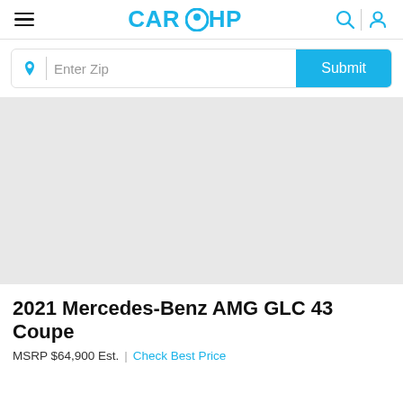CARHP
Enter Zip | Submit
[Figure (photo): Light gray placeholder image area for car photo]
2021 Mercedes-Benz AMG GLC 43 Coupe
MSRP $64,900 Est. | Check Best Price